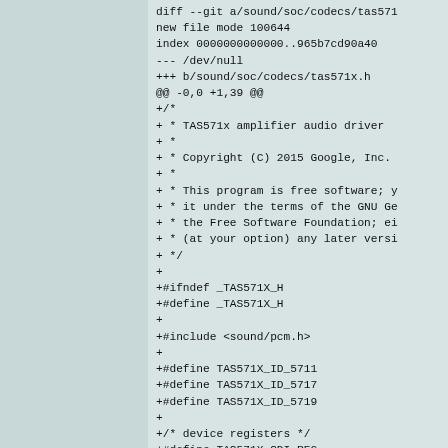diff --git a/sound/soc/codecs/tas571
new file mode 100644
index 0000000000000..965b7cd90a40
--- /dev/null
+++ b/sound/soc/codecs/tas571x.h
@@ -0,0 +1,39 @@
+/*
+ * TAS571x amplifier audio driver
+ *
+ * Copyright (C) 2015 Google, Inc.
+ *
+ * This program is free software; y
+ * it under the terms of the GNU Ge
+ * the Free Software Foundation; ei
+ * (at your option) any later versi
+ */
+
+#ifndef _TAS571X_H
+#define _TAS571X_H
+
+#include <sound/pcm.h>
+
+#define TAS571X_ID_5711
+#define TAS571X_ID_5717
+#define TAS571X_ID_5719
+
+/* device registers */
+#define TAS571X_SDI_REG
+#define TAS571X_SDI_FMT_MASK
+